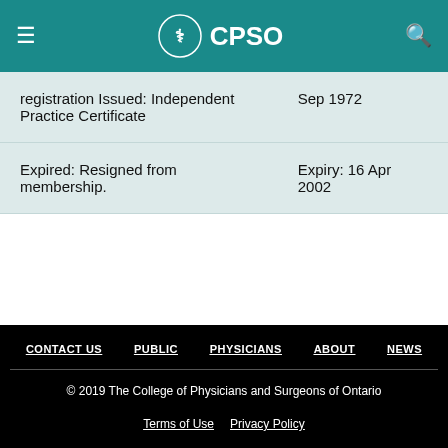CPSO
| registration Issued: Independent Practice Certificate | Sep 1972 |
| Expired: Resigned from membership. | Expiry: 16 Apr 2002 |
CONTACT US  PUBLIC  PHYSICIANS  ABOUT  NEWS
© 2019 The College of Physicians and Surgeons of Ontario
Terms of Use  Privacy Policy